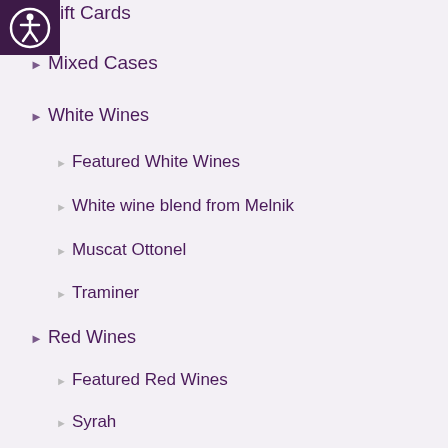[Figure (other): Accessibility icon (person in circle) in dark purple square]
ift Cards
Mixed Cases
White Wines
Featured White Wines
White wine blend from Melnik
Muscat Ottonel
Traminer
Red Wines
Featured Red Wines
Syrah
Pinot Noir
Merlot
Melnik
Red Blend
Gamza